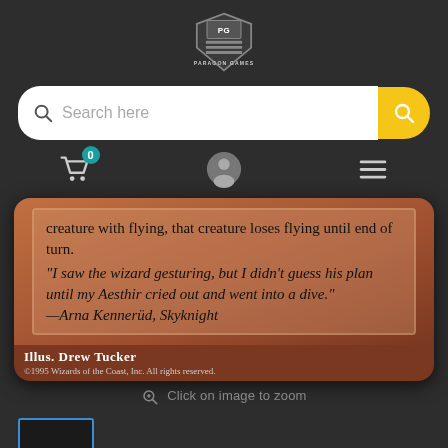[Figure (logo): Paragon Games shield logo with PG letters and horizontal lines]
[Figure (screenshot): Website search bar with magnifying glass icon, 'Search here' placeholder text, and yellow search button]
[Figure (screenshot): Navigation bar with shopping cart (badge 0), user profile icon, and hamburger menu]
[Figure (photo): Magic: The Gathering card closeup showing flavor text area. Text reads: 'creature with flying, that creature loses flying until end of turn. "I saw the wizard gesturing, but I didn't guess his plan until my Aesthir cried out and went into a dive." —Arna Kennerüd, Skyknight'. Illustrated by Drew Tucker. ©1995 Wizards of the Coast, Inc. All rights reserved.]
Click on image to zoom
[Figure (screenshot): Thumbnail of the card image, selected with blue border]